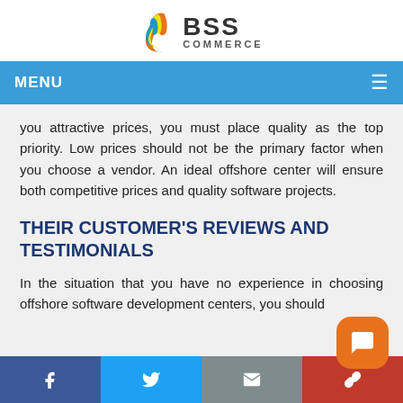[Figure (logo): BSS Commerce logo with flame icon]
MENU
you attractive prices, you must place quality as the top priority. Low prices should not be the primary factor when you choose a vendor. An ideal offshore center will ensure both competitive prices and quality software projects.
THEIR CUSTOMER'S REVIEWS AND TESTIMONIALS
In the situation that you have no experience in choosing offshore software development centers, you should
Facebook  Twitter  Email  Link  Chat